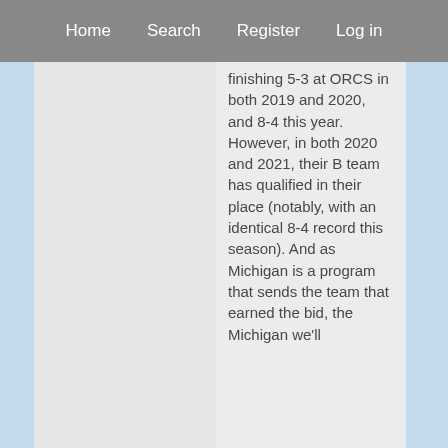Home   Search   Register   Log in
finishing 5-3 at ORCS in both 2019 and 2020, and 8-4 this year. However, in both 2020 and 2021, their B team has qualified in their place (notably, with an identical 8-4 record this season). And as Michigan is a program that sends the team that earned the bid, the Michigan we'll